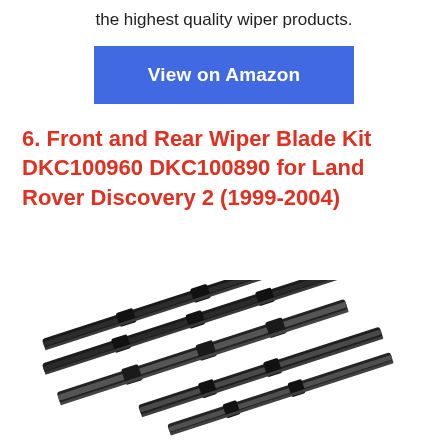the highest quality wiper products.
View on Amazon
6. Front and Rear Wiper Blade Kit DKC100960 DKC100890 for Land Rover Discovery 2 (1999-2004)
[Figure (photo): Photo of wiper blades — multiple dark wiper blade assemblies arranged diagonally on white background]